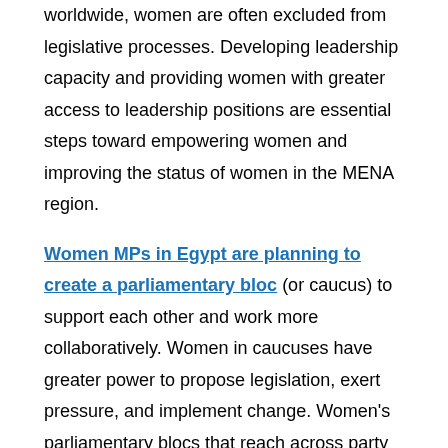worldwide, women are often excluded from legislative processes. Developing leadership capacity and providing women with greater access to leadership positions are essential steps toward empowering women and improving the status of women in the MENA region.
Women MPs in Egypt are planning to create a parliamentary bloc (or caucus) to support each other and work more collaboratively. Women in caucuses have greater power to propose legislation, exert pressure, and implement change. Women's parliamentary blocs that reach across party lines are perhaps one of the best mechanisms to support women MPs and enhance women's rights. According to the Inter-Parliamentary